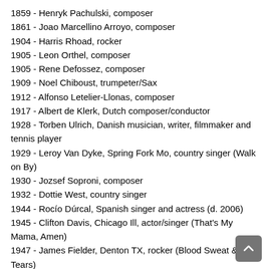1859 - Henryk Pachulski, composer
1861 - Joao Marcellino Arroyo, composer
1904 - Harris Rhoad, rocker
1905 - Leon Orthel, composer
1905 - Rene Defossez, composer
1909 - Noel Chiboust, trumpeter/Sax
1912 - Alfonso Letelier-Llonas, composer
1917 - Albert de Klerk, Dutch composer/conductor
1928 - Torben Ulrich, Danish musician, writer, filmmaker and tennis player
1929 - Leroy Van Dyke, Spring Fork Mo, country singer (Walk on By)
1930 - Jozsef Soproni, composer
1932 - Dottie West, country singer
1944 - Rocío Dúrcal, Spanish singer and actress (d. 2006)
1945 - Clifton Davis, Chicago Ill, actor/singer (That's My Mama, Amen)
1947 - James Fielder, Denton TX, rocker (Blood Sweat & Tears)
1947 - Julien Clerc, French singer
1952 - Jody Stephens, rock drummer (Big Star)
1952 - Nina Carter, London England, vocalist (Blonde on Blonde)
1958 - Barbara MacDonald, rocker (Timbuk 3)